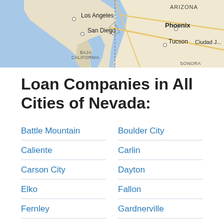[Figure (map): Map showing southwestern United States including California, Arizona, Nevada area with cities labeled: Los Angeles, San Diego, Phoenix, Tucson, Ciudad J., and Baja California region]
Loan Companies in All Cities of Nevada:
Battle Mountain
Boulder City
Caliente
Carlin
Carson City
Dayton
Elko
Fallon
Fernley
Gardnerville
Henderson
Imlay